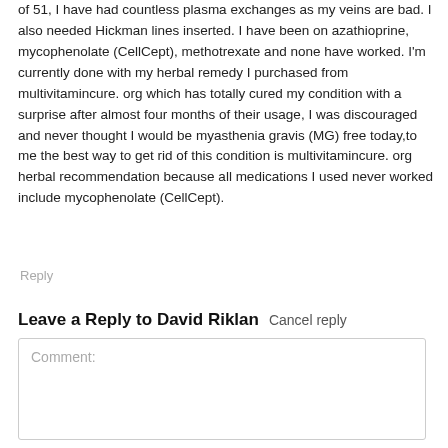of 51, I have had countless plasma exchanges as my veins are bad. I also needed Hickman lines inserted. I have been on azathioprine, mycophenolate (CellCept), methotrexate and none have worked. I'm currently done with my herbal remedy I purchased from multivitamincure. org which has totally cured my condition with a surprise after almost four months of their usage, I was discouraged and never thought I would be myasthenia gravis (MG) free today,to me the best way to get rid of this condition is multivitamincure. org herbal recommendation because all medications I used never worked include mycophenolate (CellCept).
Reply
Leave a Reply to David Riklan  Cancel reply
Comment: